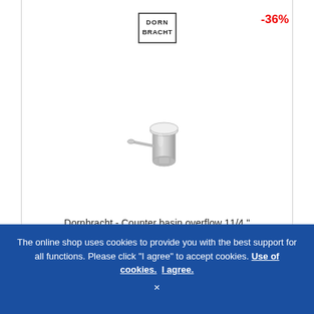[Figure (logo): Dornbracht brand logo — black rectangular border with text DORN on top line and BRACHT on bottom line in block letters]
-36%
[Figure (photo): Chrome Dornbracht counter basin overflow valve with lever, 1 1/4 inch, photographed on white background]
Dornbracht - Counter basin overflow 11/4 "
£ 56.93*
£ 36.07
The online shop uses cookies to provide you with the best support for all functions. Please click "I agree" to accept cookies. Use of cookies. I agree.
×